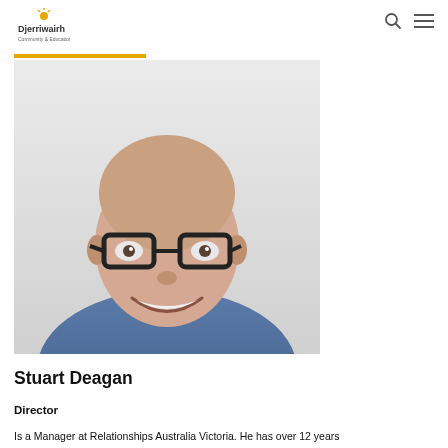Djerriwairh Community & Education Services
[Figure (photo): Professional headshot of Stuart Deagan, a bald man wearing black-framed glasses and a blue t-shirt, smiling, against a light grey background]
Stuart Deagan
Director
Is a Manager at Relationships Australia Victoria. He has over 12 years